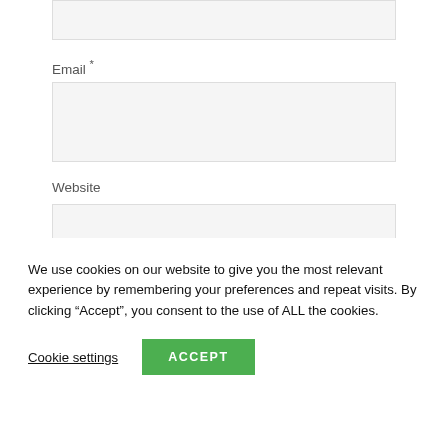Email *
[Figure (other): Empty text input box for Email field]
Website
[Figure (other): Empty text input box for Website field]
Save my name, email, and website in this
We use cookies on our website to give you the most relevant experience by remembering your preferences and repeat visits. By clicking “Accept”, you consent to the use of ALL the cookies.
Cookie settings
ACCEPT